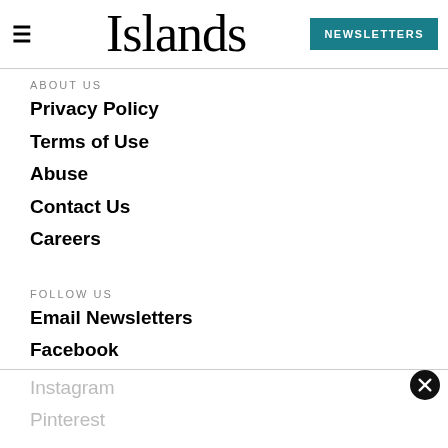Islands — NEWSLETTERS
ABOUT US
Privacy Policy
Terms of Use
Abuse
Contact Us
Careers
FOLLOW US
Email Newsletters
Facebook
Instagram
Pinterest